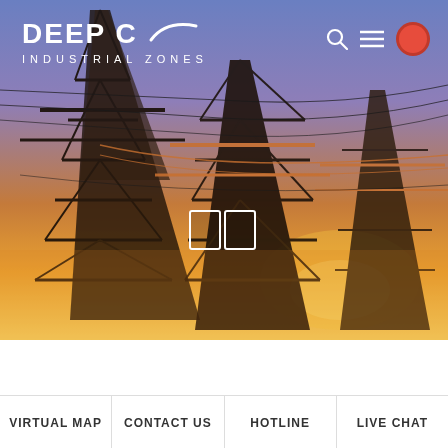[Figure (photo): Aerial view of large electrical transmission towers (power pylons) against a dramatic sunset sky with blue, purple, orange and yellow gradients. High-voltage power lines are strung between multiple steel lattice towers.]
DEEP C INDUSTRIAL ZONES
VIRTUAL MAP
CONTACT US
HOTLINE
LIVE CHAT